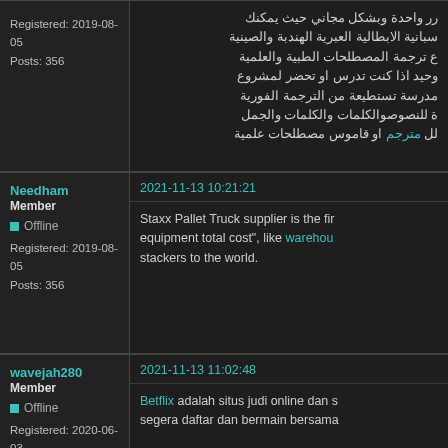Registered: 2019-08-05
Posts: 356
رر واحدة وبشكل مجاني حيث يمكنك
سبانية الابطالية العبرية الهندبة والصينية
ع ترجمة المصطلحات الطبية والعلمية
وحيد اذا كنت تدرس او تحضر لمشروع
مدرسة تستطيعة من الترجمة الفورية
ة للنصوصوالكلمات والكلمات والجمل
لل مترجم او قاموس مصطلحات علمية
Needham
Member
Offline
Registered: 2019-08-05
Posts: 356
2021-11-13 10:21:21
Staxx Pallet Truck supplier is the fir equipment total cost", like warehou stackers to the world.
wavejah280
Member
Offline
Registered: 2020-06-03
Posts: 929
2021-11-13 11:02:48
Betflix adalah situs judi online dan s segera daftar dan bermain bersama